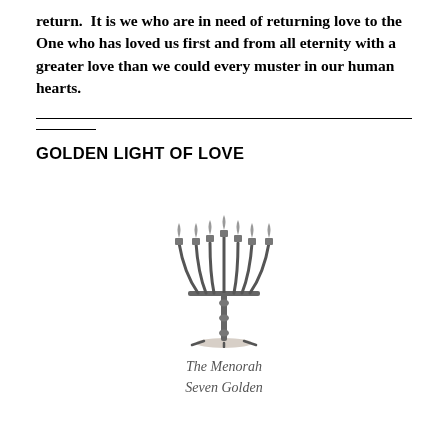return.  It is we who are in need of returning love to the One who has loved us first and from all eternity with a greater love than we could every muster in our human hearts.
GOLDEN LIGHT OF LOVE
[Figure (illustration): An illustration of a Menorah (seven-branched candelabrum), drawn in a detailed vintage style with decorative flames atop each of the seven branches.]
The Menorah
Seven Golden